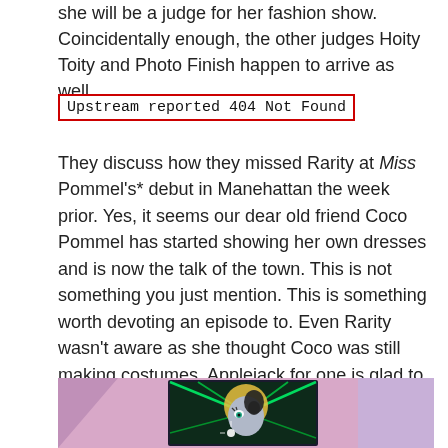she will be a judge for her fashion show. Coincidentally enough, the other judges Hoity Toity and Photo Finish happen to arrive as well.
Upstream reported 404 Not Found
They discuss how they missed Rarity at Miss Pommel's* debut in Manehattan the week prior. Yes, it seems our dear old friend Coco Pommel has started showing her own dresses and is now the talk of the town. This is not something you just mention. This is something worth devoting an episode to. Even Rarity wasn't aware as she thought Coco was still making costumes. Applejack for one is glad to hear Coco is doing so well. Remember how they worked together in "Made In Manehattan" way back in Season 5. They show Rarity and Applejack some of the highlights of the fashion show and want Applejack's opinion as a fellow judge. Applejack proceeds to mock one of the outfits because it literally looks like a disco ball.
[Figure (illustration): Animation still showing a pony character (Photo Finish) with a golden mane and black-and-white markings, with green laser beams in the background, framed like a polaroid photo against a pink/purple background.]